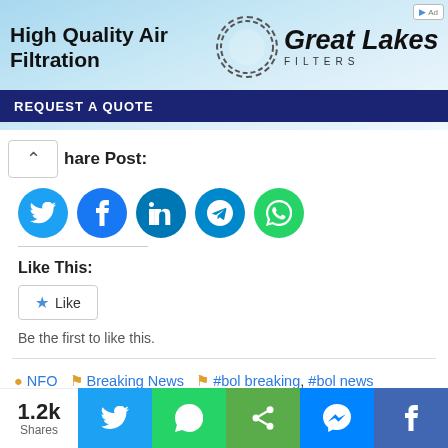[Figure (screenshot): Advertisement banner for Great Lakes Filters showing 'High Quality Air Filtration' text and 'REQUEST A QUOTE' call to action on a blue sky background]
Share Post:
[Figure (infographic): Row of five social media share buttons: Twitter (blue), Facebook (blue), LinkedIn (teal), Telegram (teal), WhatsApp (green)]
Like This:
Like
Be the first to like this.
NFO  Breaking News  #bol breaking, #bol news breaking, #breaking fox news news september 4 2022, #breaking fox news september 2, #breaking fox news september 4,
1.2k Shares  [Twitter] [WhatsApp] [Share] [Messenger] [Facebook]